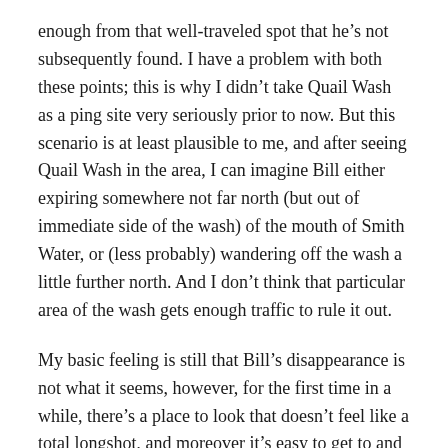enough from that well-traveled spot that he's not subsequently found. I have a problem with both these points; this is why I didn't take Quail Wash as a ping site very seriously prior to now. But this scenario is at least plausible to me, and after seeing Quail Wash in the area, I can imagine Bill either expiring somewhere not far north (but out of immediate side of the wash) of the mouth of Smith Water, or (less probably) wandering off the wash a little further north. And I don't think that particular area of the wash gets enough traffic to rule it out.
My basic feeling is still that Bill's disappearance is not what it seems, however, for the first time in a while, there's a place to look that doesn't feel like a total longshot, and moreover it's easy to get to and quite nice in spots. So, maybe. I will probably be back, and it's ripe for a look from any other hikers who might want to give it a shot.